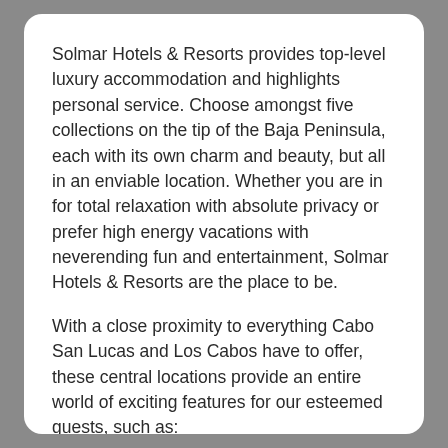Solmar Hotels & Resorts provides top-level luxury accommodation and highlights personal service. Choose amongst five collections on the tip of the Baja Peninsula, each with its own charm and beauty, but all in an enviable location. Whether you are in for total relaxation with absolute privacy or prefer high energy vacations with neverending fun and entertainment, Solmar Hotels & Resorts are the place to be.
With a close proximity to everything Cabo San Lucas and Los Cabos have to offer, these central locations provide an entire world of exciting features for our esteemed guests, such as:
· Premier concierge services
· Spacious and luxurious Suites
· Innovative health, beauty and spa treatments